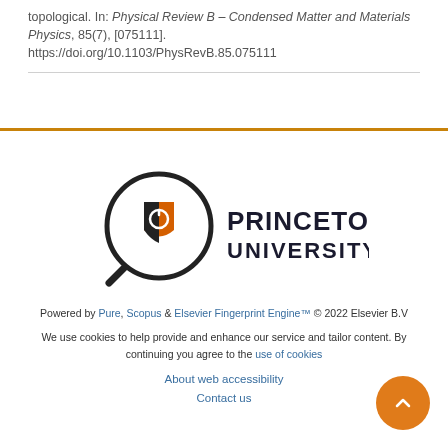topological. In: Physical Review B – Condensed Matter and Materials Physics, 85(7), [075111]. https://doi.org/10.1103/PhysRevB.85.075111
[Figure (logo): Princeton University logo with magnifying glass icon and shield]
Powered by Pure, Scopus & Elsevier Fingerprint Engine™ © 2022 Elsevier B.V
We use cookies to help provide and enhance our service and tailor content. By continuing you agree to the use of cookies
About web accessibility
Contact us